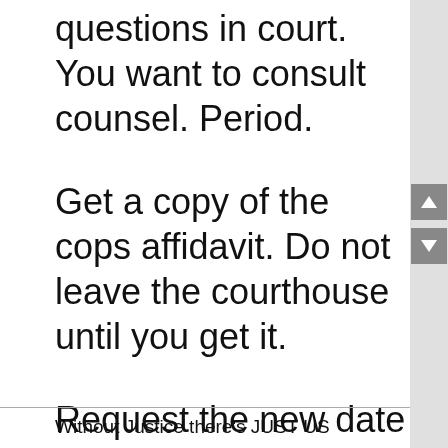questions in court. You want to consult counsel. Period.
Get a copy of the cops affidavit. Do not leave the courthouse until you get it.
Request the new date for the motion to be heard as far off into the future as you can.
Without Justice there's JUST US